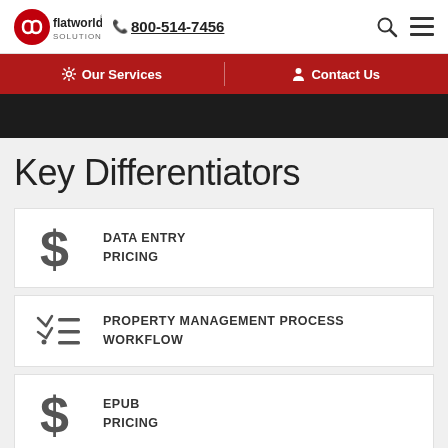flatworld solutions 800-514-7456
Our Services | Contact Us
Key Differentiators
DATA ENTRY PRICING
PROPERTY MANAGEMENT PROCESS WORKFLOW
EPUB PRICING